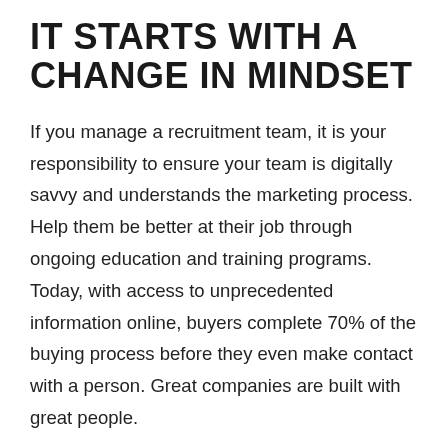IT STARTS WITH A CHANGE IN MINDSET
If you manage a recruitment team, it is your responsibility to ensure your team is digitally savvy and understands the marketing process. Help them be better at their job through ongoing education and training programs. Today, with access to unprecedented information online, buyers complete 70% of the buying process before they even make contact with a person. Great companies are built with great people.